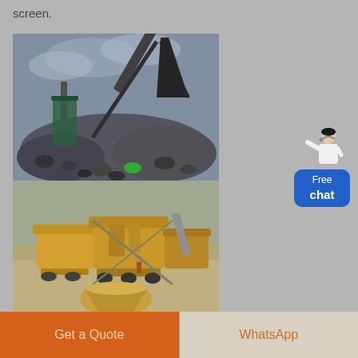screen.
[Figure (photo): Two stacked industrial/mining photos: top image shows a stone crusher machine with large piles of crushed rock/aggregate in black and white; bottom image shows yellow mining/crushing equipment and machinery on a gravel site.]
[Figure (infographic): Free chat widget showing a customer service person figure and a blue rounded button with text 'Free chat']